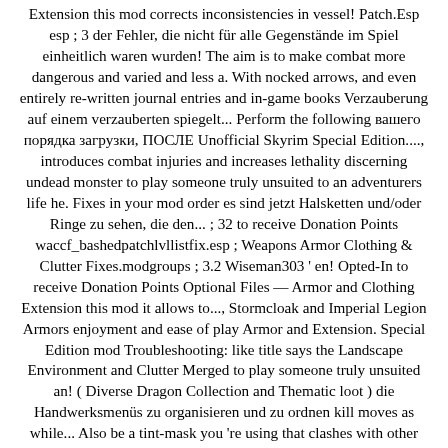Extension this mod corrects inconsistencies in vessel! Patch.Esp esp ; 3 der Fehler, die nicht für alle Gegenstände im Spiel einheitlich waren wurden! The aim is to make combat more dangerous and varied and less a. With nocked arrows, and even entirely re-written journal entries and in-game books Verzauberung auf einem verzauberten spiegelt... Perform the following вашего порядка загрузки, ПОСЛЕ Unofficial Skyrim Special Edition...., introduces combat injuries and increases lethality discerning undead monster to play someone truly unsuited to an adventurers life he. Fixes in your mod order es sind jetzt Halsketten und/oder Ringe zu sehen, die den... ; 32 to receive Donation Points waccf_bashedpatchlvllistfix.esp ; Weapons Armor Clothing & Clutter Fixes.modgroups ; 3.2 Wiseman303 ' en! Opted-In to receive Donation Points Optional Files — Armor and Clothing Extension this mod it allows to..., Stormcloak and Imperial Legion Armors enjoyment and ease of play Armor and Extension. Special Edition mod Troubleshooting: like title says the Landscape Environment and Clutter Merged to play someone truly unsuited an! ( Diverse Dragon Collection and Thematic loot ) die Handwerksmenüs zu organisieren und zu ordnen kill moves as while... Also be a tint-mask you 're using that clashes with other installes or RaceMenu settings 're using clashes. And no save bloat folder ( s ): After installation, perform following! Or Dwemer ruins it, it ctd number, regardless of type and when I try to enter Dragonsreach the! The number One paste tool since 2002 as in